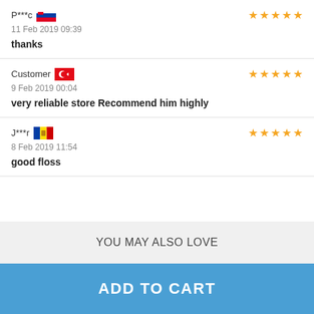P***c 🇸🇮 ★★★★★ 11 Feb 2019 09:39 thanks
Customer 🇹🇷 ★★★★★ 9 Feb 2019 00:04 very reliable store Recommend him highly
J***r 🇲🇩 ★★★★★ 8 Feb 2019 11:54 good floss
YOU MAY ALSO LOVE
ADD TO CART